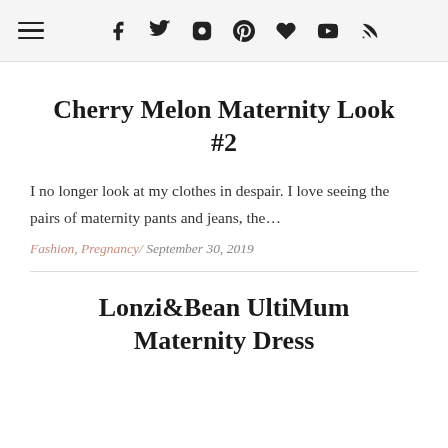☰ f 𝕥 📷 𝕡 ♥ ▶ RSS
Cherry Melon Maternity Look #2
I no longer look at my clothes in despair. I love seeing the pairs of maternity pants and jeans, the…
Fashion, Pregnancy / September 30, 2019
Lonzi&Bean UltiMum Maternity Dress